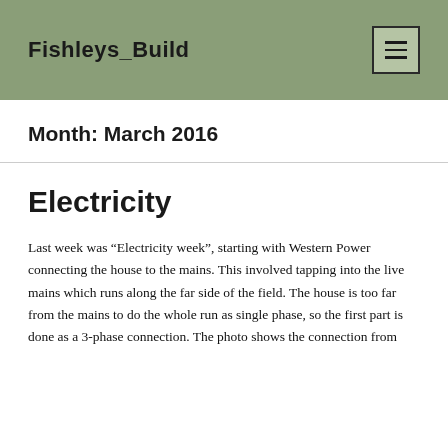Fishleys_Build
Month: March 2016
Electricity
Last week was “Electricity week”, starting with Western Power connecting the house to the mains. This involved tapping into the live mains which runs along the far side of the field. The house is too far from the mains to do the whole run as single phase, so the first part is done as a 3-phase connection. The photo shows the connection from